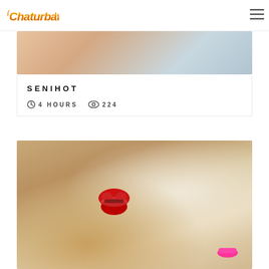Chaturbate
[Figure (photo): Partial view of a person's body/skin, beige and light blue tones, top of a profile card image]
SENIHOT
4 HOURS   224
[Figure (photo): Blonde woman seated on a couch wearing a white shirt with red sequin lips design, pink shoes, tanned legs, with a watermark reading fans.com/larissan]